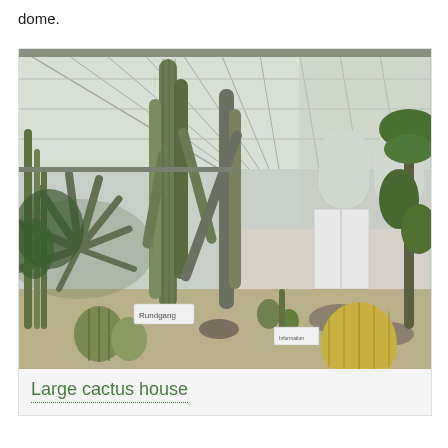dome.
[Figure (photo): Interior of a large greenhouse cactus house with a glass roof. The space contains tall columnar cacti, agave plants, barrel cacti, and other desert succulents arranged in a landscaped bed with rocks. A pathway runs through the center with a sign reading 'Rundgang'. The glass roof structure is visible overhead.]
Large cactus house